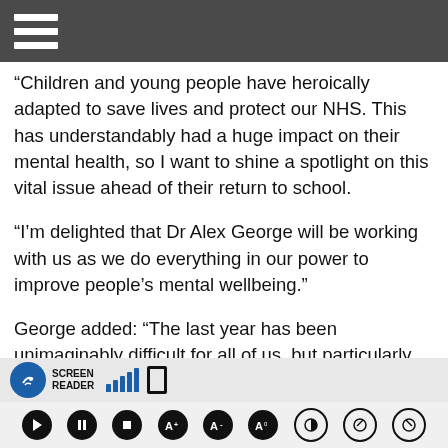Menu / navigation hamburger icon
“Children and young people have heroically adapted to save lives and protect our NHS. This has understandably had a huge impact on their mental health, so I want to shine a spotlight on this vital issue ahead of their return to school.
“I’m delighted that Dr Alex George will be working with us as we do everything in our power to improve people’s mental wellbeing.”
George added: “The last year has been unimaginably difficult for all of us, but particularly for young people who have sacrificed so much. I am honoured to be appointed for this role where I’ll be working closely with government to